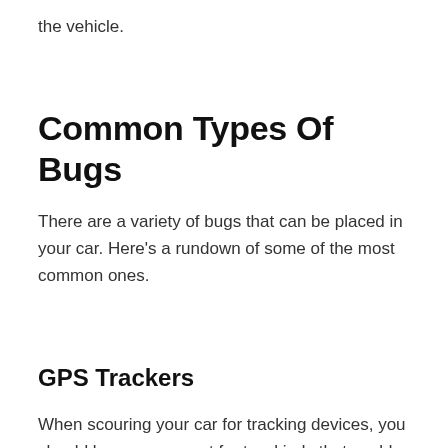the vehicle.
Common Types Of Bugs
There are a variety of bugs that can be placed in your car. Here's a rundown of some of the most common ones.
GPS Trackers
When scouring your car for tracking devices, you should keep an eye out for two kinds that could be